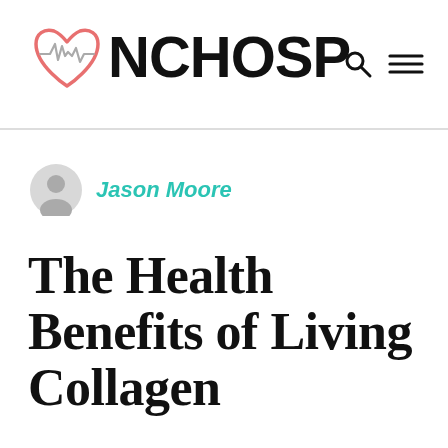NCHOSP
Jason Moore
The Health Benefits of Living Collagen